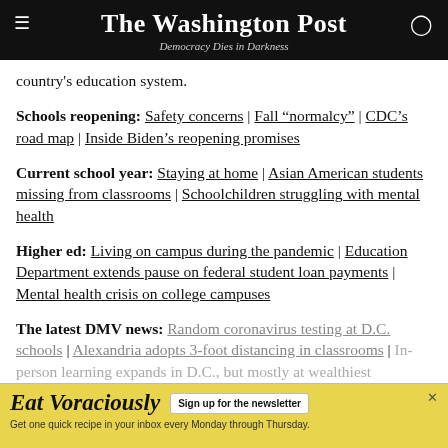The Washington Post | Democracy Dies in Darkness
country's education system.
Schools reopening: Safety concerns | Fall “normalcy” | CDC’s road map | Inside Biden’s reopening promises
Current school year: Staying at home | Asian American students missing from classrooms | Schoolchildren struggling with mental health
Higher ed: Living on campus during the pandemic | Education Department extends pause on federal student loan payments | Mental health crisis on college campuses
The latest DMV news: Random coronavirus testing at D.C. schools | Alexandria adopts 3-foot distancing in classrooms | In-person learning expands in D.C., but mostly at wealthiest
[Figure (infographic): Eat Voraciously advertisement banner with yellow background, sign up for newsletter button, and tagline: Get one quick recipe in your inbox every Monday through Thursday.]